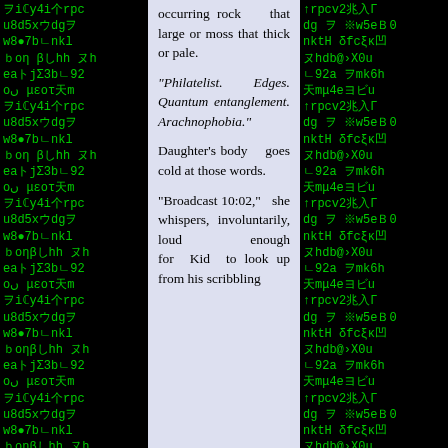[Figure (other): Left background panel with green matrix-style characters on black background]
occurring rock that large or moss that thick or pale.

"Philatelist. Edges. Quantum entanglement. Arachnophobia."

Daughter's body goes cold at those words.

"Broadcast 10:02," she whispers, involuntarily, loud enough for Kid to look up from his scribbling
[Figure (other): Right background panel with green matrix-style characters on black background]